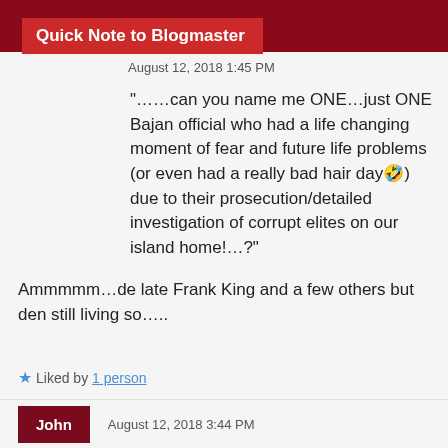Quick Note to Blogmaster
August 12, 2018 1:45 PM
“……can you name me ONE…just ONE Bajan official who had a life changing moment of fear and future life problems (or even had a really bad hair day🤣) due to their prosecution/detailed investigation of corrupt elites on our island home!…?”

Ammmmm…de late Frank King and a few others but den still living so…..
Liked by 1 person
John  August 12, 2018 3:44 PM